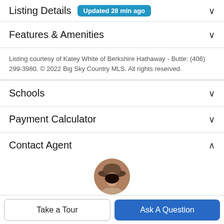Listing Details  Updated 28 min ago
Features & Amenities
Listing courtesy of Katey White of Berkshire Hathaway - Butte: (406) 299-3980. © 2022 Big Sky Country MLS. All rights reserved.
Schools
Payment Calculator
Contact Agent
[Figure (photo): Circular agent profile photo of a woman wearing a wide-brim hat]
Take a Tour
Ask A Question